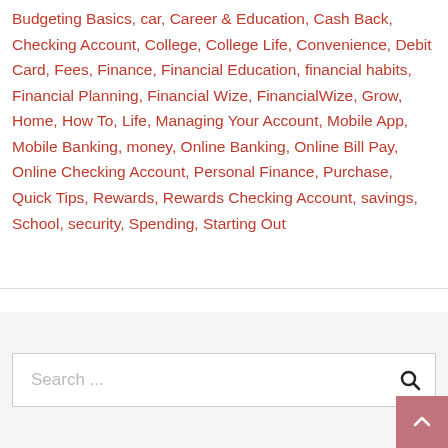Budgeting Basics, car, Career & Education, Cash Back, Checking Account, College, College Life, Convenience, Debit Card, Fees, Finance, Financial Education, financial habits, Financial Planning, Financial Wize, FinancialWize, Grow, Home, How To, Life, Managing Your Account, Mobile App, Mobile Banking, money, Online Banking, Online Bill Pay, Online Checking Account, Personal Finance, Purchase, Quick Tips, Rewards, Rewards Checking Account, savings, School, security, Spending, Starting Out
Search ...